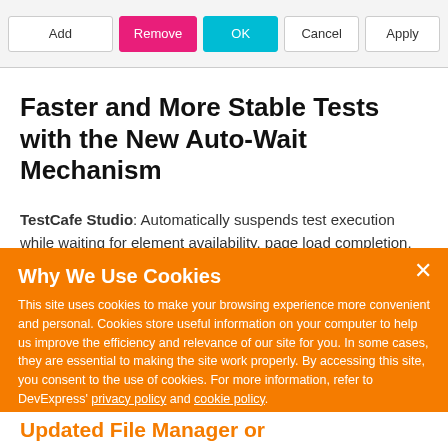[Figure (screenshot): Toolbar with Add, Remove (pink), OK (blue), Cancel, and Apply buttons]
Faster and More Stable Tests with the New Auto-Wait Mechanism
TestCafe Studio: Automatically suspends test execution while waiting for element availability, page load completion, XHR requests, etc. The new auto-wait mechanism also extends to
[Figure (screenshot): Cookie consent banner with orange background reading 'Why We Use Cookies' with policy text, 'I UNDERSTAND' button, and scroll-up arrow button]
Updated File Manager or